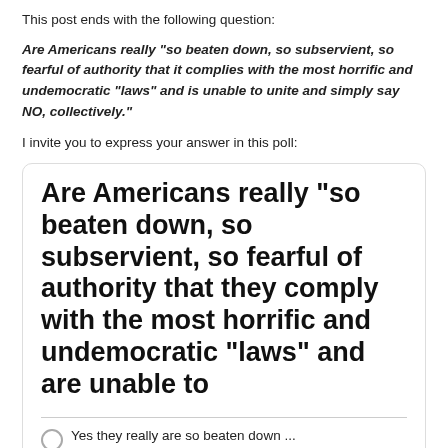This post ends with the following question:
Are Americans really “so beaten down, so subservient, so fearful of authority that it complies with the most horrific and undemocratic “laws” and is unable to unite and simply say NO, collectively.”
I invite you to express your answer in this poll:
[Figure (screenshot): Poll widget with question: Are Americans really "so beaten down, so subservient, so fearful of authority that they comply with the most horrific and undemocratic “laws” and are unable to" with a radio button option: Yes they really are so beaten down ...]